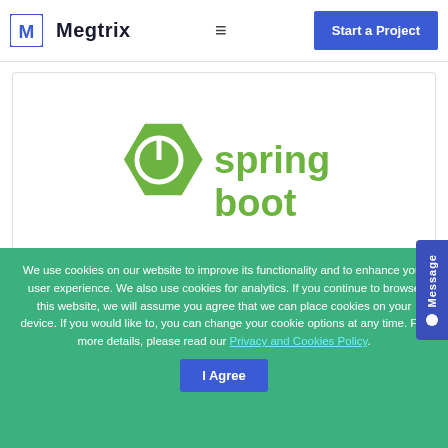Megtrix | Start a Project
[Figure (logo): Spring Boot logo — green hexagonal power-button icon with 'spring boot' text in green]
We use cookies on our website to improve its functionality and to enhance your user experience. We also use cookies for analytics. If you continue to browse this website, we will assume you agree that we can place cookies on your device. If you would like to, you can change your cookie options at any time. For more details, please read our Privacy and Cookies Policy.
I Agree